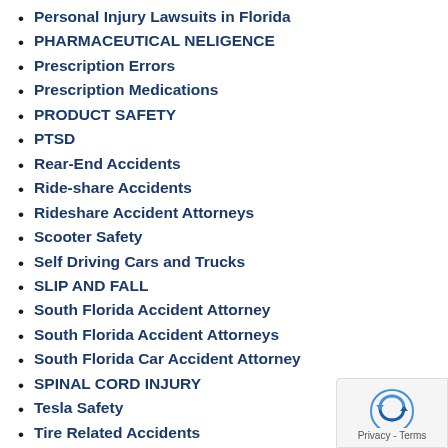Personal Injury Lawsuits in Florida
PHARMACEUTICAL NELIGENCE
Prescription Errors
Prescription Medications
PRODUCT SAFETY
PTSD
Rear-End Accidents
Ride-share Accidents
Rideshare Accident Attorneys
Scooter Safety
Self Driving Cars and Trucks
SLIP AND FALL
South Florida Accident Attorney
South Florida Accident Attorneys
South Florida Car Accident Attorney
SPINAL CORD INJURY
Tesla Safety
Tire Related Accidents
TRACTOR TRAILOR ACCIDENTS
Traffic Collision Injuries
TRAIN ACCIDENTS